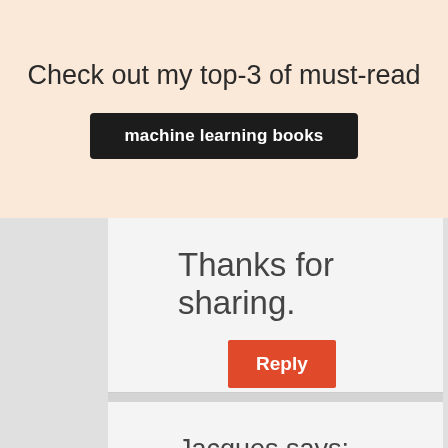Check out my top-3 of must-read
machine learning books
Thanks for sharing.
Reply
Jacques  says:
August 24, 2014 at 10:09 pm